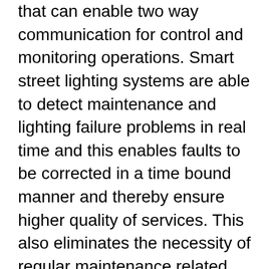that can enable two way communication for control and monitoring operations. Smart street lighting systems are able to detect maintenance and lighting failure problems in real time and this enables faults to be corrected in a time bound manner and thereby ensure higher quality of services. This also eliminates the necessity of regular maintenance related checkups. In addition, smart street lighting systems are able to transmit information to a centralized management system that monitors the various parameters such as voltage, light, current, temperature, etc. Such kind of two-way communication enables continuous monitoring of the street lights. Another important advantage of smart street lighting systems is that they are environment friendly and reduce the emission of